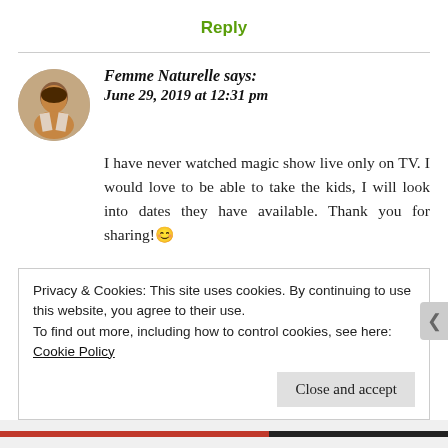Reply
Femme Naturelle says:
June 29, 2019 at 12:31 pm
I have never watched magic show live only on TV. I would love to be able to take the kids, I will look into dates they have available. Thank you for sharing!😊
Privacy & Cookies: This site uses cookies. By continuing to use this website, you agree to their use.
To find out more, including how to control cookies, see here: Cookie Policy
Close and accept